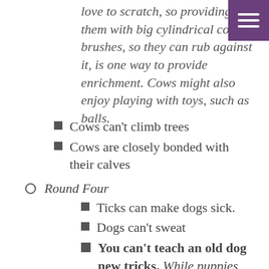love to scratch, so providing them with big cylindrical cow brushes, so they can rub against it, is one way to provide enrichment. Cows might also enjoy playing with toys, such as balls.
Cows can't climb trees
Cows are closely bonded with their calves
Round Four
Ticks can make dogs sick.
Dogs can't sweat
You can't teach an old dog new tricks. While puppies might pick up new behaviours more quickly, dogs of any age can learn new tricks. Remember to be